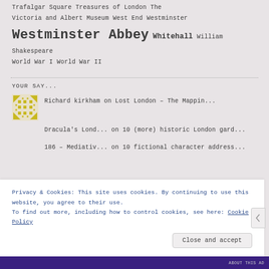Trafalgar Square Treasures of London The Victoria and Albert Museum West End Westminster Westminster Abbey Whitehall William Shakespeare World War I World War II
YOUR SAY...
Richard kirkham on Lost London – The Mappin...
Dracula's Lond... on 10 (more) historic London gard...
186 – Mediativ... on 10 fictional character address...
Privacy & Cookies: This site uses cookies. By continuing to use this website, you agree to their use.
To find out more, including how to control cookies, see here: Cookie Policy
Close and accept